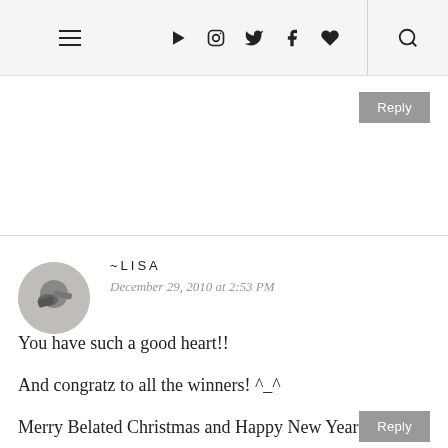Navigation bar with hamburger menu, social icons (YouTube, Instagram, Twitter, Facebook, heart), and search icon
Reply
~LISA
December 29, 2010 at 2:53 PM

You have such a good heart!!

And congratz to all the winners! ^_^

Merry Belated Christmas and Happy New Year
Reply